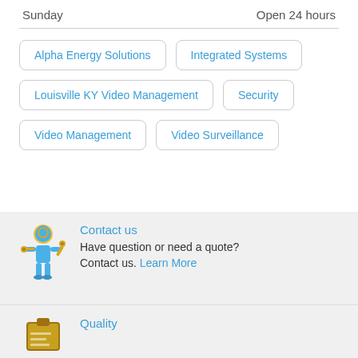Sunday    Open 24 hours
Alpha Energy Solutions
Integrated Systems
Louisville KY Video Management
Security
Video Management
Video Surveillance
Contact us
Have question or need a quote? Contact us. Learn More
Quality